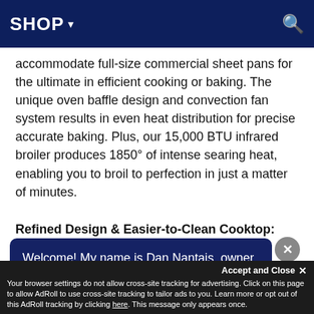SHOP ▾
accommodate full-size commercial sheet pans for the ultimate in efficient cooking or baking. The unique oven baffle design and convection fan system results in even heat distribution for precise accurate baking. Plus, our 15,000 BTU infrared broiler produces 1850° of intense searing heat, enabling you to broil to perfection in just a matter of minutes.
Refined Design & Easier-to-Clean Cooktop: The new RNB Series has an up...
[Figure (screenshot): Chat popup overlay with dark navy background reading: 'Welcome! My name is Dan Nantais, owner of Milcarsky's. How can I assist you today?' with a close (X) button]
Your browser settings do not allow cross-site tracking for advertising. Click on this page to allow AdRoll to use cross-site tracking to tailor ads to you. Learn more or opt out of this AdRoll tracking by clicking here. This message only appears once.